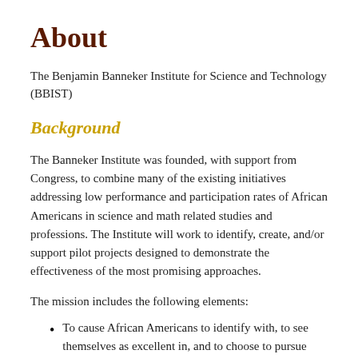About
The Benjamin Banneker Institute for Science and Technology (BBIST)
Background
The Banneker Institute was founded, with support from Congress, to combine many of the existing initiatives addressing low performance and participation rates of African Americans in science and math related studies and professions. The Institute will work to identify, create, and/or support pilot projects designed to demonstrate the effectiveness of the most promising approaches.
The mission includes the following elements:
To cause African Americans to identify with, to see themselves as excellent in, and to choose to pursue science, technology, engineering and math (STEM) careers and fields of study.
To increase resource availability so that all African Americans who aspire to pursue STEM careers will